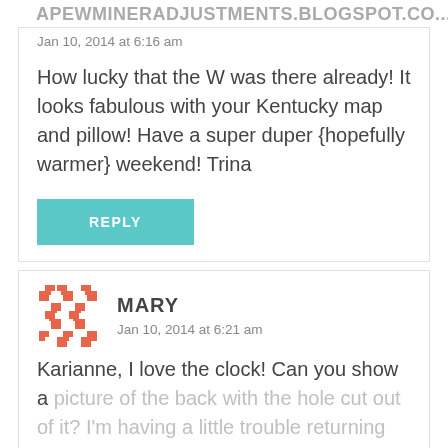APEWMINERADJUSTMENTS.BLOGSPOT.CO...
Jan 10, 2014 at 6:16 am
How lucky that the W was there already! It looks fabulous with your Kentucky map and pillow! Have a super duper {hopefully warmer} weekend! Trina
REPLY
MARY
Jan 10, 2014 at 6:21 am
Karianne, I love the clock! Can you show a picture of the back with the hole cut out of it? I'm having a little trouble returning a...